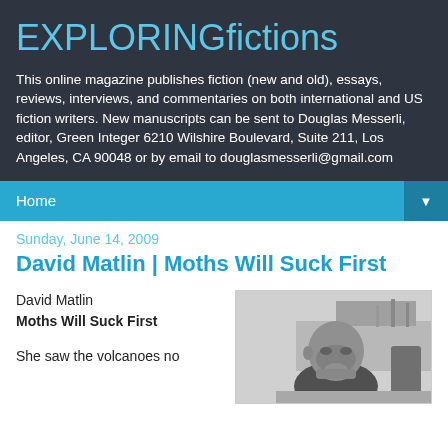EXPLORINGfictions
This online magazine publishes fiction (new and old), essays, reviews, interviews, and commentaries on both international and US fiction writers. New manuscripts can be sent to Douglas Messerli, editor, Green Integer 6210 Wilshire Boulevard, Suite 211, Los Angeles, CA 90048 or by email to douglasmesserli@gmail.com
Home
Sunday, June 14, 2009
David Matlin | Moths Will Suck First
David Matlin
Moths Will Suck First
She saw the volcanoes no
[Figure (photo): Black and white photo of a bald man seated, resting his chin on his hand, in what appears to be an office or study setting.]